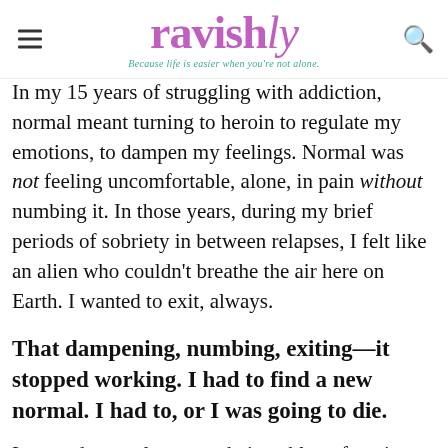ravishly — Because life is easier when you're not alone.
In my 15 years of struggling with addiction, normal meant turning to heroin to regulate my emotions, to dampen my feelings. Normal was not feeling uncomfortable, alone, in pain without numbing it. In those years, during my brief periods of sobriety in between relapses, I felt like an alien who couldn't breathe the air here on Earth. I wanted to exit, always.
That dampening, numbing, exiting—it stopped working. I had to find a new normal. I had to, or I was going to die.
I wanted normal to mean being able to function, to exist in my body without wanting to jump out...